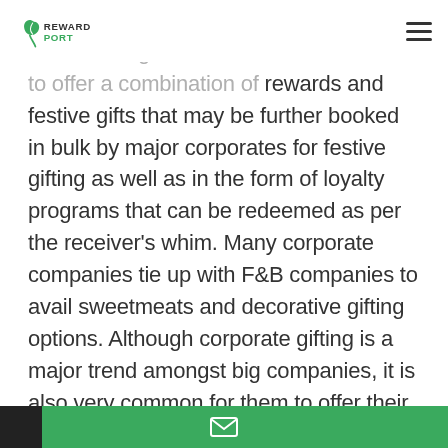RewardPort
Most of the companies focus on collaborating with other brands in order to offer a combination of rewards and festive gifts that may be further booked in bulk by major corporates for festive gifting as well as in the form of loyalty programs that can be redeemed as per the receiver's whim. Many corporate companies tie up with F&B companies to avail sweetmeats and decorative gifting options. Although corporate gifting is a major trend amongst big companies, it is also very common for them to offer their employees with attractive vouchers, gift cards and loyalty program offers that provide them with an opportunity to redeem them according to their preferred time and avail items that meet their